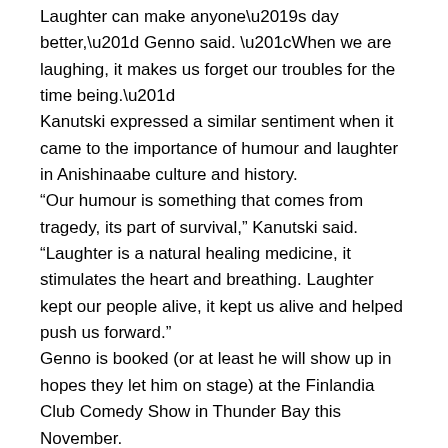Laughter can make anyone’s day better,” Genno said. “When we are laughing, it makes us forget our troubles for the time being.”
Kanutski expressed a similar sentiment when it came to the importance of humour and laughter in Anishinaabe culture and history.
“Our humour is something that comes from tragedy, its part of survival,” Kanutski said. “Laughter is a natural healing medicine, it stimulates the heart and breathing. Laughter kept our people alive, it kept us alive and helped push us forward.”
Genno is booked (or at least he will show up in hopes they let him on stage) at the Finlandia Club Comedy Show in Thunder Bay this November.
Kanutski can be found online at: www.ronkanutski.com, and is available for workshops and shows (and long walks on the beach).
Burnstick received some free pop and did stand-up at the Grand Portage Casino on Aug. 10.